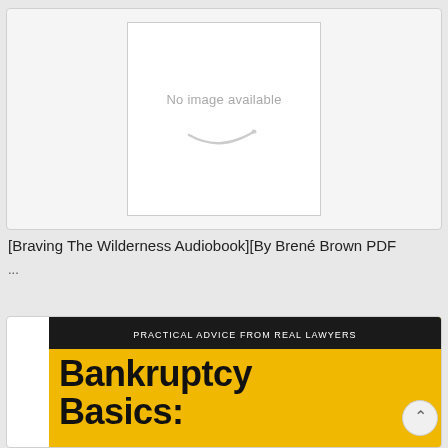[Figure (other): Amazon placeholder image box showing 'No image available' text with Amazon smile logo]
[Braving The Wilderness Audiobook][By Brené Brown PDF
...
[Figure (illustration): Book cover for 'Bankruptcy Basics' with yellow background, black bar reading 'PRACTICAL ADVICE FROM REAL LAWYERS', and bold black title text 'Bankruptcy Basics:']